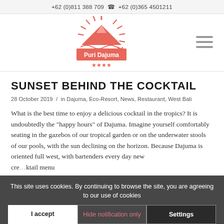+62 (0)811 388 709  ☎  +62 (0)365 4501211
[Figure (logo): Puri Dajuma logo: red/salmon colored volcano with sunburst and four stars, text 'Puri Dajuma']
SUNSET BEHIND THE COCKTAIL
28 October 2019  /  in Dajuma, Eco-Resort, News, Restaurant, West Bali
What is the best time to enjoy a delicious cocktail in the tropics? It is undoubtedly the "happy hours" of Dajuma. Imagine yourself comfortably seating in the gazebos of our tropical garden or on the underwater stools of our pools, with the sun declining on the horizon. Because Dajuma is oriented full west, with bartenders every day new cocktail menu
This site uses cookies. By continuing to browse the site, you are agreeing to our use of cookies
I accept | Hide notification only | Settings